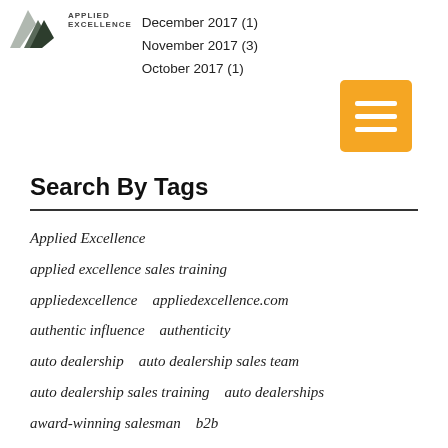Applied Excellence | December 2017 (1) | November 2017 (3) | October 2017 (1)
Search By Tags
Applied Excellence
applied excellence sales training
appliedexcellence   appliedexcellence.com
authentic influence   authenticity
auto dealership   auto dealership sales team
auto dealership sales training   auto dealerships
award-winning salesman   b2b
b2b motivational speaker
b2b sales course online   b2c
b2c motivational speaker   best keynote speaker